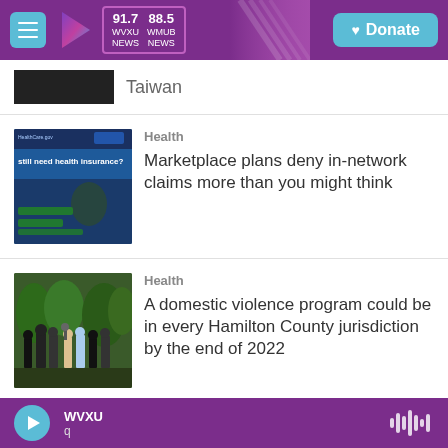WVXU 91.7 NEWS | WMUB 88.5 NEWS | Donate
Taiwan
Health
Marketplace plans deny in-network claims more than you might think
Health
A domestic violence program could be in every Hamilton County jurisdiction by the end of 2022
Media
WVXU q